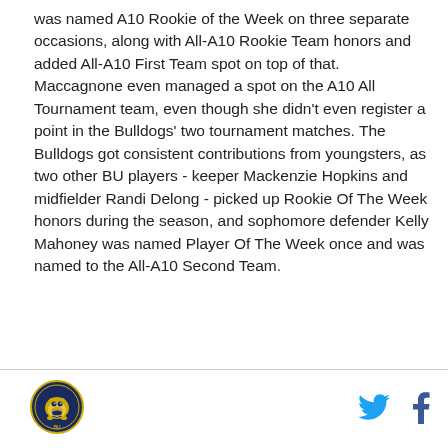was named A10 Rookie of the Week on three separate occasions, along with All-A10 Rookie Team honors and added All-A10 First Team spot on top of that. Maccagnone even managed a spot on the A10 All Tournament team, even though she didn't even register a point in the Bulldogs' two tournament matches. The Bulldogs got consistent contributions from youngsters, as two other BU players - keeper Mackenzie Hopkins and midfielder Randi Delong - picked up Rookie Of The Week honors during the season, and sophomore defender Kelly Mahoney was named Player Of The Week once and was named to the All-A10 Second Team.
[Figure (logo): Circular team logo with a bulldog mascot in gold and navy]
[Figure (logo): Twitter bird icon in blue]
[Figure (logo): Facebook f icon in dark blue]